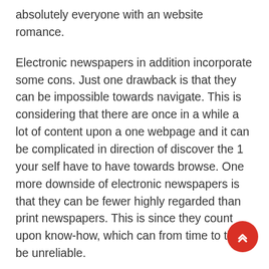absolutely everyone with an website romance.
Electronic newspapers in addition incorporate some cons. Just one drawback is that they can be impossible towards navigate. This is considering that there are once in a while a lot of content upon a one webpage and it can be complicated in direction of discover the 1 your self have to have towards browse. One more downside of electronic newspapers is that they can be fewer highly regarded than print newspapers. This is since they count upon know-how, which can from time to time be unreliable.
In general, electronic newspapers comprise lots of positive aspects and down sides. Regretably, they are a hassle-free path toward dwell up-